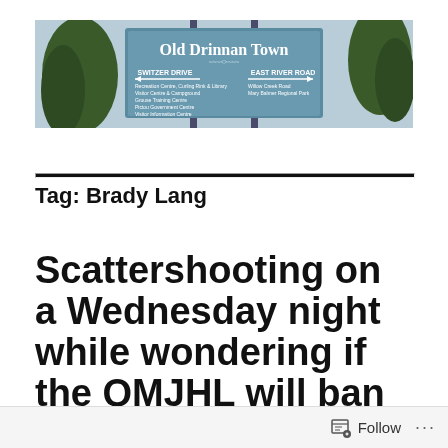[Figure (photo): Street sign photo for Old Drinnan Town showing Switzer Drive and East River Road directions with listed destinations]
Tag: Brady Lang
Scattershooting on a Wednesday night while wondering if the QMJHL will ban fighting
Follow